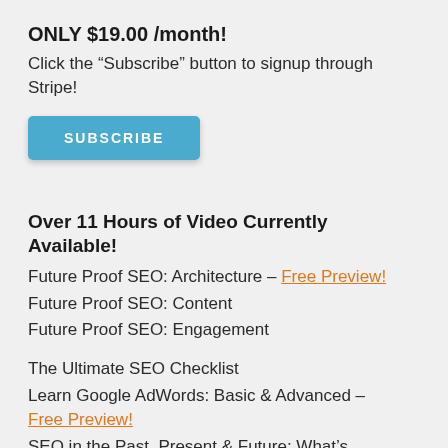ONLY $19.00 /month!
Click the “Subscribe” button to signup through Stripe!
[Figure (other): Blue SUBSCRIBE button]
Over 11 Hours of Video Currently Available!
Future Proof SEO: Architecture – Free Preview!
Future Proof SEO: Content
Future Proof SEO: Engagement
The Ultimate SEO Checklist
Learn Google AdWords: Basic & Advanced – Free Preview!
SEO in the Past, Present & Future: What’s